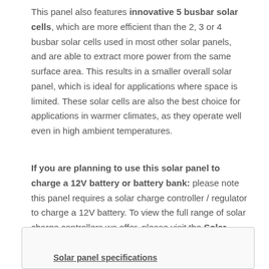This panel also features innovative 5 busbar solar cells, which are more efficient than the 2, 3 or 4 busbar solar cells used in most other solar panels, and are able to extract more power from the same surface area. This results in a smaller overall solar panel, which is ideal for applications where space is limited. These solar cells are also the best choice for applications in warmer climates, as they operate well even in high ambient temperatures.
If you are planning to use this solar panel to charge a 12V battery or battery bank: please note this panel requires a solar charge controller / regulator to charge a 12V battery. To view the full range of solar charge controllers we offer, please visit the Solar Charge Controllers category of our online shop.
[Figure (other): Partially visible box/region at the bottom of the page, likely a specifications table or panel, with underlined bold text label visible at the bottom.]